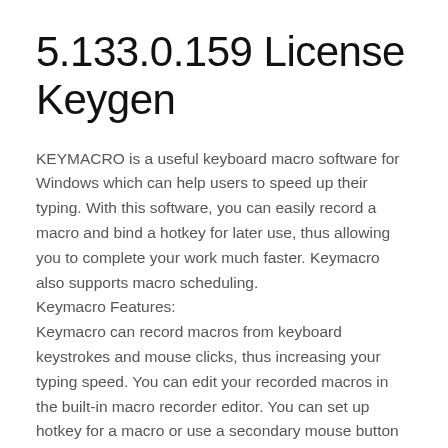5.133.0.159 License Keygen
KEYMACRO is a useful keyboard macro software for Windows which can help users to speed up their typing. With this software, you can easily record a macro and bind a hotkey for later use, thus allowing you to complete your work much faster. Keymacro also supports macro scheduling.
Keymacro Features:
Keymacro can record macros from keyboard keystrokes and mouse clicks, thus increasing your typing speed. You can edit your recorded macros in the built-in macro recorder editor. You can set up hotkey for a macro or use a secondary mouse button to trigger a macro. You can record your macros in different languages. You can also schedule a